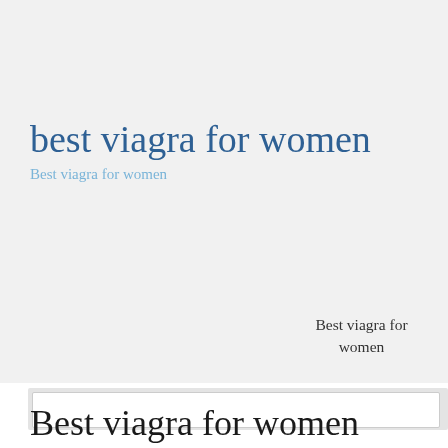best viagra for women
Best viagra for women
Best viagra for women
Best viagra for women